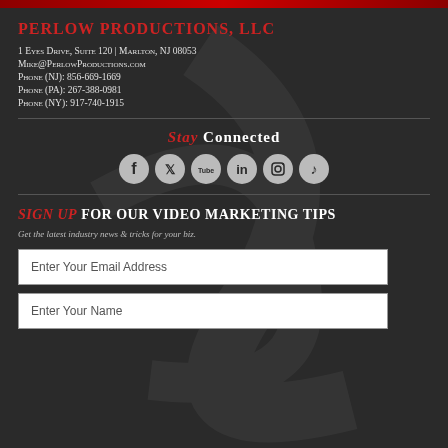Perlow Productions, LLC
1 Eyes Drive, Suite 120 | Marlton, NJ 08053
Mike@PerlowProductions.com
Phone (NJ): 856-669-1669
Phone (PA): 267-388-0981
Phone (NY): 917-740-1915
Stay Connected
[Figure (infographic): Row of 6 social media icons: Facebook, Twitter, YouTube, LinkedIn, Instagram, TikTok]
SIGN UP FOR Our Video Marketing Tips
Get the latest industry news & tricks for your biz.
Enter Your Email Address
Enter Your Name